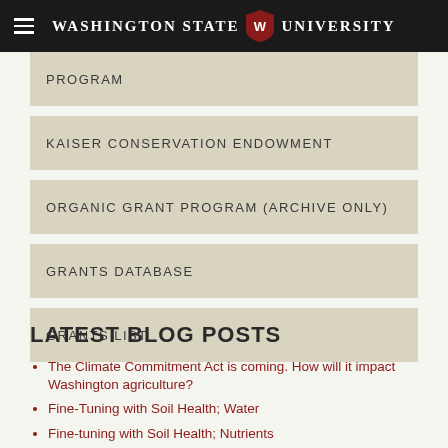Washington State University
PROGRAM
KAISER CONSERVATION ENDOWMENT
ORGANIC GRANT PROGRAM (ARCHIVE ONLY)
GRANTS DATABASE
GRANTS LIST
LATEST BLOG POSTS
The Climate Commitment Act is coming. How will it impact Washington agriculture?
Fine-Tuning with Soil Health; Water
Fine-tuning with Soil Health; Nutrients